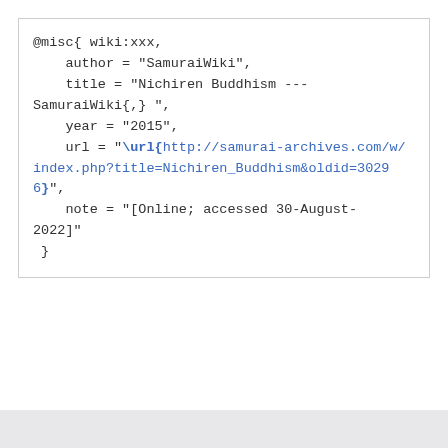@misc{ wiki:xxx,
    author = "SamuraiWiki",
    title = "Nichiren Buddhism ---SamuraiWiki{,} ",
    year = "2015",
    url = "\url{http://samurai-archives.com/w/index.php?title=Nichiren_Buddhism&oldid=30296}",
    note = "[Online; accessed 30-August-2022]"
 }